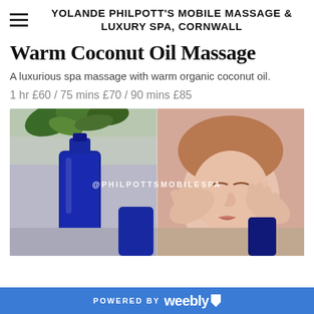YOLANDE PHILPOTT'S MOBILE MASSAGE & LUXURY SPA, CORNWALL
Warm Coconut Oil Massage
A luxurious spa massage with warm organic coconut oil.
1 hr £60 / 75 mins £70 / 90 mins £85
[Figure (photo): Split image: left side shows a dark blue glass bottle with green plant leaves above it; right side shows a woman receiving a face massage with both hands cupping her face. Watermark text '@PHILPOTTSMOBILESPA' overlaid in white.]
POWERED BY weebly